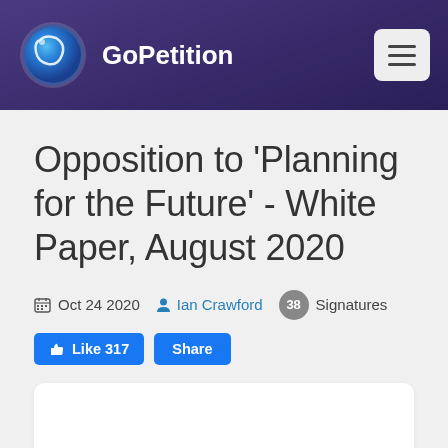GoPetition
Opposition to 'Planning for the Future' - White Paper, August 2020
Oct 24 2020   Ian Crawford   38 Signatures
Like 317   Share